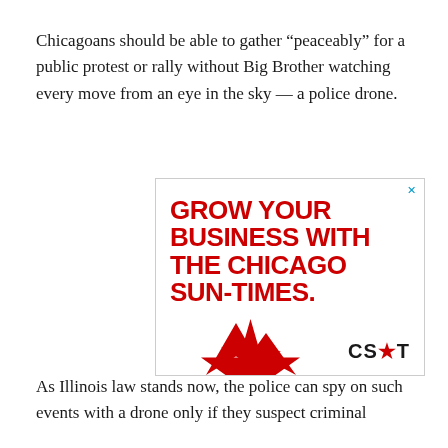Chicagoans should be able to gather “peaceably” for a public protest or rally without Big Brother watching every move from an eye in the sky — a police drone.
[Figure (other): Advertisement for Chicago Sun-Times: 'GROW YOUR BUSINESS WITH THE CHICAGO SUN-TIMES.' with CS*T logo and red star graphic]
As Illinois law stands now, the police can spy on such events with a drone only if they suspect criminal